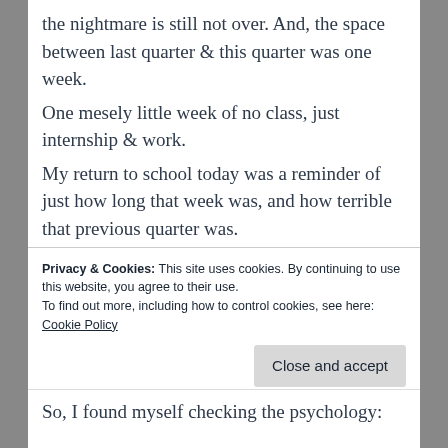the nightmare is still not over. And, the space between last quarter & this quarter was one week.
One mesely little week of no class, just internship & work.
My return to school today was a reminder of just how long that week was, and how terrible that previous quarter was.
I feel completely alone and with no direction.
And, so much lately, I have felt completely out of touch with my passion, and why I started this
Privacy & Cookies: This site uses cookies. By continuing to use this website, you agree to their use.
To find out more, including how to control cookies, see here:
Cookie Policy
[Close and accept]
So, I found myself checking the psychology: